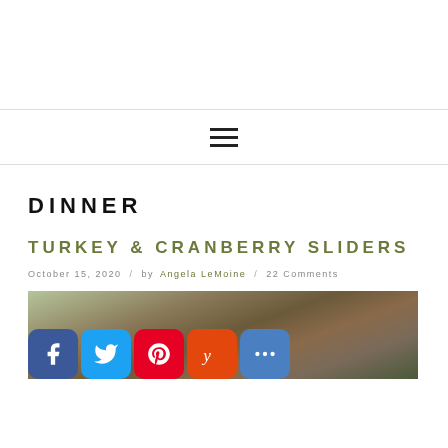DINNER
TURKEY & CRANBERRY SLIDERS
October 15, 2020 / by Angela LeMoine / 22 Comments
[Figure (photo): Food photo of turkey and cranberry sliders with decorative autumn elements; social sharing icons (Facebook, Twitter, Pinterest, Yummly, More) overlaid at bottom left]